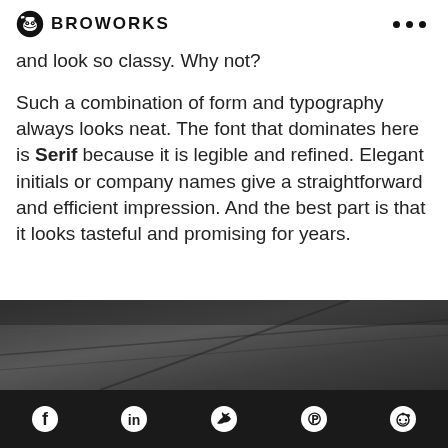BROWORKS
and look so classy. Why not?
Such a combination of form and typography always looks neat. The font that dominates here is Serif because it is legible and refined. Elegant initials or company names give a straightforward and efficient impression. And the best part is that it looks tasteful and promising for years.
[Figure (photo): Dark textured wooden surface, partially visible at bottom of page]
Social media icons: Facebook, LinkedIn, Twitter, Pinterest, Reddit